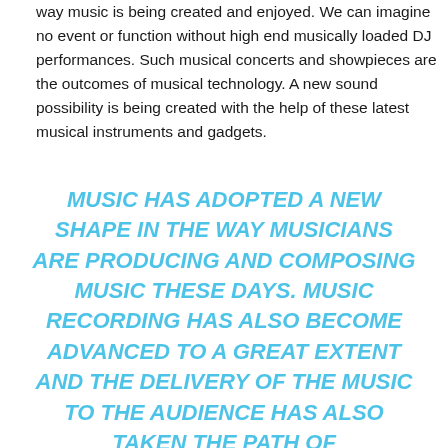way music is being created and enjoyed. We can imagine no event or function without high end musically loaded DJ performances. Such musical concerts and showpieces are the outcomes of musical technology. A new sound possibility is being created with the help of these latest musical instruments and gadgets.
MUSIC HAS ADOPTED A NEW SHAPE IN THE WAY MUSICIANS ARE PRODUCING AND COMPOSING MUSIC THESE DAYS. MUSIC RECORDING HAS ALSO BECOME ADVANCED TO A GREAT EXTENT AND THE DELIVERY OF THE MUSIC TO THE AUDIENCE HAS ALSO TAKEN THE PATH OF TECHNOLOGICAL